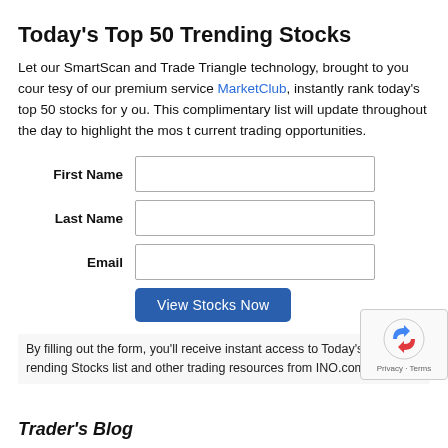Today's Top 50 Trending Stocks
Let our SmartScan and Trade Triangle technology, brought to you courtesy of our premium service MarketClub, instantly rank today's top 50 stocks for you. This complimentary list will update throughout the day to highlight the most current trading opportunities.
First Name [input field]
Last Name [input field]
Email [input field]
View Stocks Now [button]
By filling out the form, you'll receive instant access to Today's Top 50 Trending Stocks list and other trading resources from INO.com.
[Figure (other): reCAPTCHA badge with arrows icon and Privacy · Terms text]
Trader's Blog